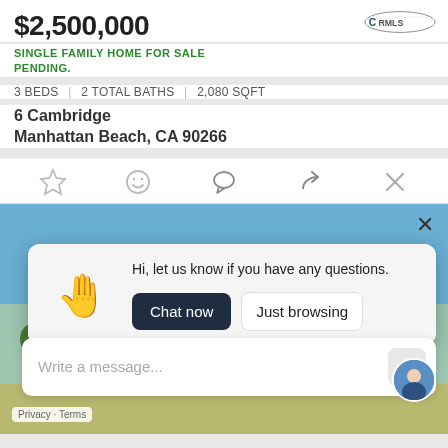$2,500,000
SINGLE FAMILY HOME FOR SALE
PENDING.
3 BEDS | 2 TOTAL BATHS | 2,080 SQFT
6 Cambridge
Manhattan Beach, CA 90266
[Figure (screenshot): Real estate listing card with CRMLS logo, action icons (star, smiley, chat, share, close), property photo background, chat popup overlay with waving hand emoji saying 'Hi, let us know if you have any questions.' with Chat now and Just browsing buttons, message input bar, privacy footer, and agent photo.]
Hi, let us know if you have any questions.
Chat now
Just browsing
Write a message...
Privacy · Terms